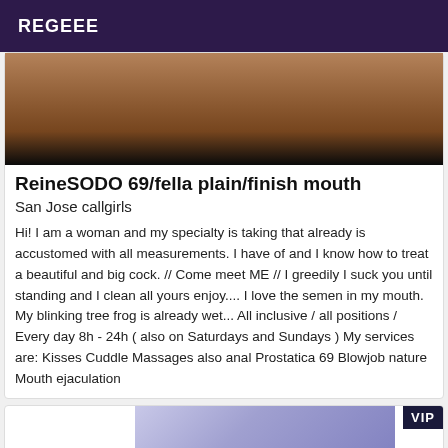REGEEE
[Figure (photo): Close-up photo of feet on a wooden surface]
ReineSODO 69/fella plain/finish mouth
San Jose callgirls
Hi! I am a woman and my specialty is taking that already is accustomed with all measurements. I have of and I know how to treat a beautiful and big cock. // Come meet ME // I greedily I suck you until standing and I clean all yours enjoy.... I love the semen in my mouth. My blinking tree frog is already wet... All inclusive / all positions / Every day 8h - 24h ( also on Saturdays and Sundays ) My services are: Kisses Cuddle Massages also anal Prostatica 69 Blowjob nature Mouth ejaculation
[Figure (photo): Partial photo with VIP badge]